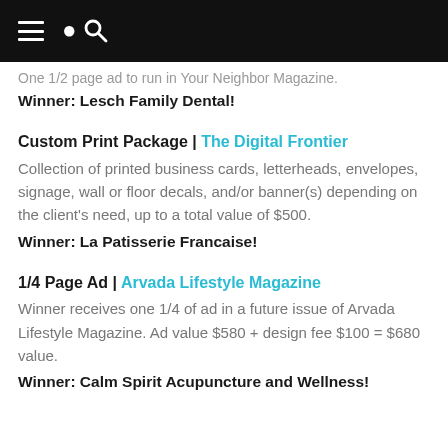[hamburger menu] [search icon]
One 1/2 page ad to run in Your Neighbor Magazine.
Winner: Lesch Family Dental!
Custom Print Package | The Digital Frontier
Collection of printed business cards, letterheads, envelopes, signage, wall or floor decals, and/or banner(s) depending on the client's need, up to a total value of $500.
Winner: La Patisserie Francaise!
1/4 Page Ad | Arvada Lifestyle Magazine
Winner receives one 1/4 of ad in a future issue of Arvada Lifestyle Magazine. Ad value $580 + design fee $100 = $680 value.
Winner: Calm Spirit Acupuncture and Wellness!